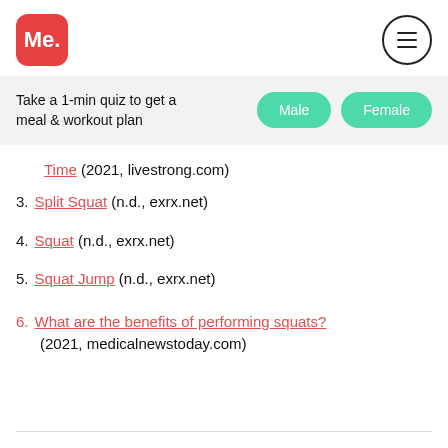Me. [logo] [hamburger menu icon]
Take a 1-min quiz to get a meal & workout plan
Time (2021, livestrong.com)
3. Split Squat (n.d., exrx.net)
4. Squat (n.d., exrx.net)
5. Squat Jump (n.d., exrx.net)
6. What are the benefits of performing squats? (2021, medicalnewstoday.com)